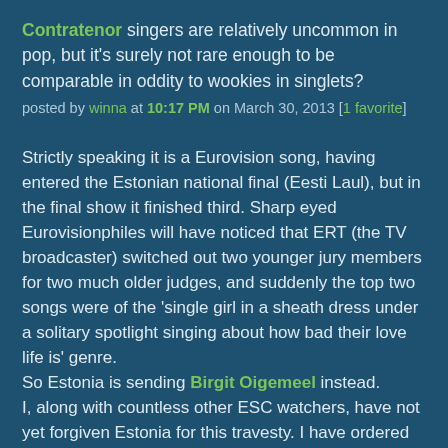Contratenor singers are relatively uncommon in pop, but it's surely not rare enough to be comparable in oddity to wookies in singlets?
posted by winna at 10:17 PM on March 30, 2013 [1 favorite]
Strictly speaking it is a Eurovision song, having entered the Estonian national final (Eesti Laul), but in the final show it finished third. Sharp eyed Eurovisionphiles will have noticed that ERT (the TV broadcaster) switched out two younger jury members for two much older judges, and suddenly the top two songs were of the 'single girl in a sheath dress under a solitary spotlight singing about how bad their love life is' genre.
So Estonia is sending Birgit Oigemeel instead.
I, along with countless other ESC watchers, have not yet forgiven Estonia for this travesty. I have ordered my Winny Puuh T-shirt, and will wear it with pride while I spend two